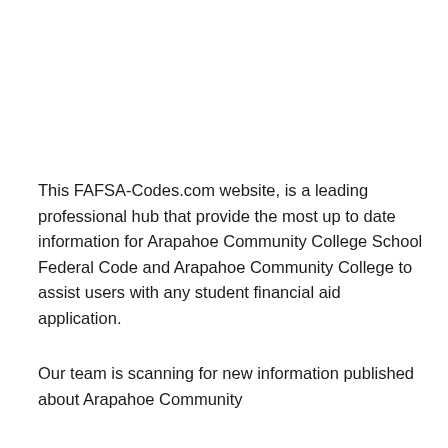This FAFSA-Codes.com website, is a leading professional hub that provide the most up to date information for Arapahoe Community College School Federal Code and Arapahoe Community College to assist users with any student financial aid application.
Our team is scanning for new information published about Arapahoe Community